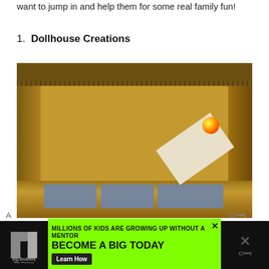want to jump in and help them for some real family fun!
1. Dollhouse Creations
[Figure (photo): A handmade cardboard box dollhouse with blue paper floor panels, a ramp made of cardboard and tape on the right side, and small colorful toys. The box is open-faced showing the interior.]
[Figure (infographic): Advertisement banner for Big Brothers Big Sisters: 'MILLIONS OF KIDS ARE GROWING UP WITHOUT A MENTOR. BECOME A BIG TODAY' with a Learn How button, green background, and close buttons on either side.]